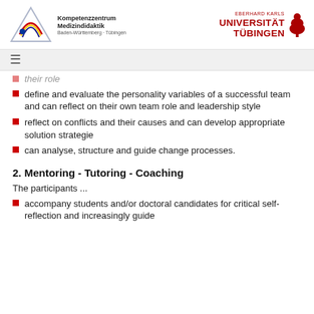Kompetenzzentrum Medizindidaktik Baden-Württemberg · Tübingen | Eberhard Karls Universität Tübingen
their role
define and evaluate the personality variables of a successful team and can reflect on their own team role and leadership style
reflect on conflicts and their causes and can develop appropriate solution strategie
can analyse, structure and guide change processes.
2. Mentoring - Tutoring - Coaching
The participants ...
accompany students and/or doctoral candidates for critical self-reflection and increasingly guide